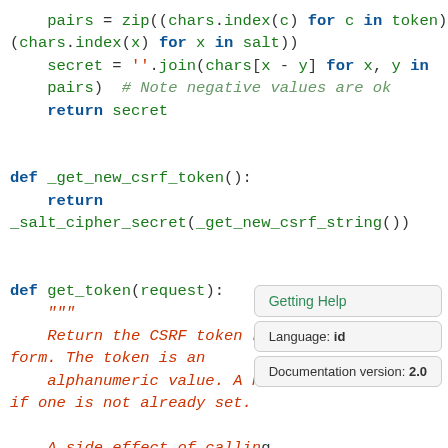[Figure (screenshot): Python source code snippet showing _salt_cipher_secret, _get_new_csrf_token, and get_token functions with syntax highlighting. Overlaid popup boxes show 'Getting Help', 'Language: id', and 'Documentation version: 2.0'.]